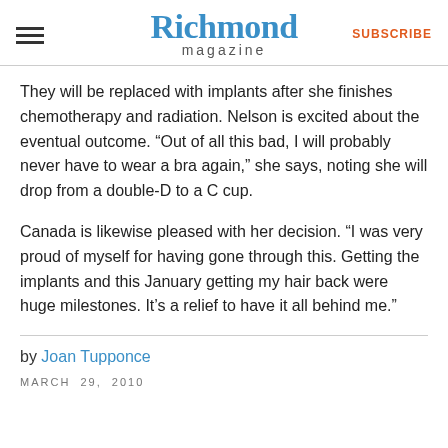Richmond magazine
They will be replaced with implants after she finishes chemotherapy and radiation. Nelson is excited about the eventual outcome. “Out of all this bad, I will probably never have to wear a bra again,” she says, noting she will drop from a double-D to a C cup.
Canada is likewise pleased with her decision. “I was very proud of myself for having gone through this. Getting the implants and this January getting my hair back were huge milestones. It’s a relief to have it all behind me.”
by Joan Tupponce
MARCH 29, 2010